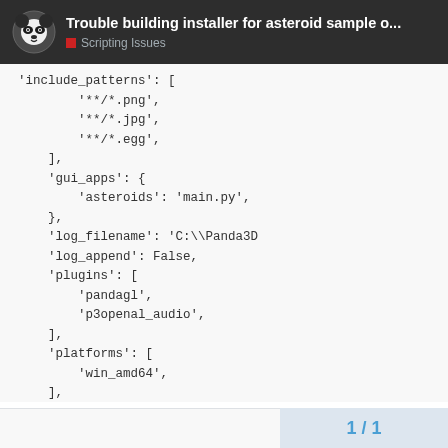Trouble building installer for asteroid sample o... | Scripting Issues
'include_patterns': [
        '**/*.png',
        '**/*.jpg',
        '**/*.egg',
    ],
    'gui_apps': {
        'asteroids': 'main.py',
    },
    'log_filename': 'C:\\Panda3D
    'log_append': False,
    'plugins': [
        'pandagl',
        'p3openal_audio',
    ],
    'platforms': [
        'win_amd64',
    ],
}
1 / 1